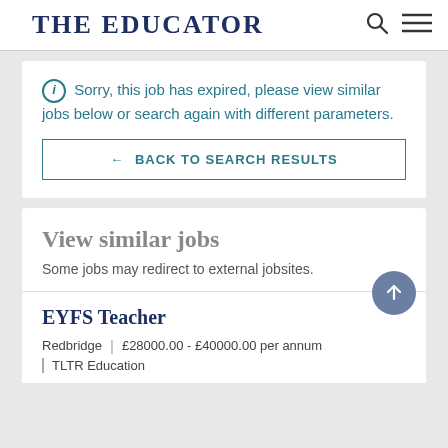THE EDUCATOR
ⓘ Sorry, this job has expired, please view similar jobs below or search again with different parameters.
← BACK TO SEARCH RESULTS
View similar jobs
Some jobs may redirect to external jobsites.
EYFS Teacher
Redbridge | £28000.00 - £40000.00 per annum
TLTR Education